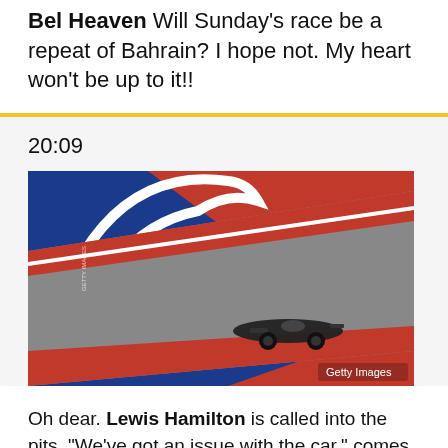Bel Heaven Will Sunday's race be a repeat of Bahrain? I hope not. My heart won't be up to it!!
20:09
[Figure (photo): A Formula 1 car on a racing circuit with red and blue curbs, photographed from a high angle. Getty Images watermark visible.]
Oh dear. Lewis Hamilton is called into the pits. "We've got an issue with the car," comes the ominous message.